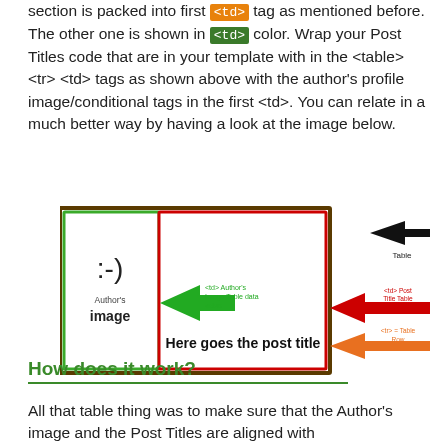section is packed into first <td> tag as mentioned before. The other one is shown in <td> color. Wrap your Post Titles code that are in your template with in the <table> <tr> <td> tags as shown above with the author's profile image/conditional tags in the first <td>. You can relate in a much better way by having a look at the image below.
[Figure (infographic): Diagram showing a table layout with a green-outlined first cell containing a smiley face and 'Author's image', and a red-outlined second cell with 'Here goes the post title'. Arrows point to elements: black arrow to 'Table', red arrow to '<td> Post Title Table Data value', orange arrow to '<tr> = Table Row', and a green arrow within pointing to '<td> Author's Image Table data value'.]
How does it work?
All that table thing was to make sure that the Author's image and the Post Titles are aligned with